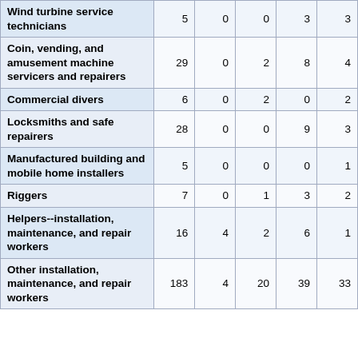| Wind turbine service technicians | 5 | 0 | 0 | 3 | 3 |
| Coin, vending, and amusement machine servicers and repairers | 29 | 0 | 2 | 8 | 4 |
| Commercial divers | 6 | 0 | 2 | 0 | 2 |
| Locksmiths and safe repairers | 28 | 0 | 0 | 9 | 3 |
| Manufactured building and mobile home installers | 5 | 0 | 0 | 0 | 1 |
| Riggers | 7 | 0 | 1 | 3 | 2 |
| Helpers--installation, maintenance, and repair workers | 16 | 4 | 2 | 6 | 1 |
| Other installation, maintenance, and repair workers | 183 | 4 | 20 | 39 | 33 |